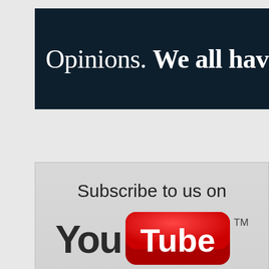[Figure (screenshot): Dark navy banner with text 'Opinions. We all have th' (cropped at right edge) in white serif font, with 'We all have th' in bold.]
[Figure (screenshot): YouTube subscribe promotional image on grey background. Text 'Subscribe to us on' above the YouTube logo showing 'You' in dark text and 'Tube' in white on a red pill-shaped button with TM mark.]
Advertisements
[Figure (screenshot): Bloomingdale's advertisement banner. Shows 'bloomingdales' logo in italic serif font, 'View Today's Top Deals!' text, a model in a hat, and a 'SHOP NOW >' call to action button.]